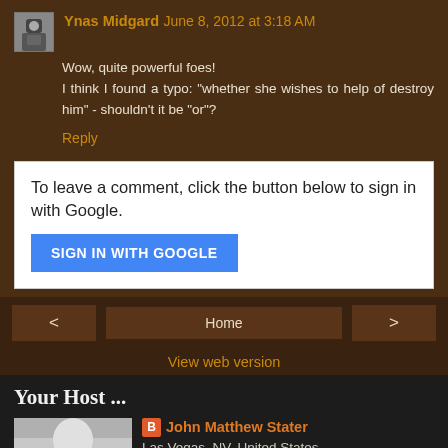Ynas Midgard  June 8, 2012 at 3:18 AM
Wow, quite powerful foes! I think I found a typo: "whether she wishes to help of destroy him" - shouldn't it be "or"?
Reply
To leave a comment, click the button below to sign in with Google.
SIGN IN WITH GOOGLE
Home
View web version
Your Host ...
John Matthew Stater
Las Vegas, NV, United States